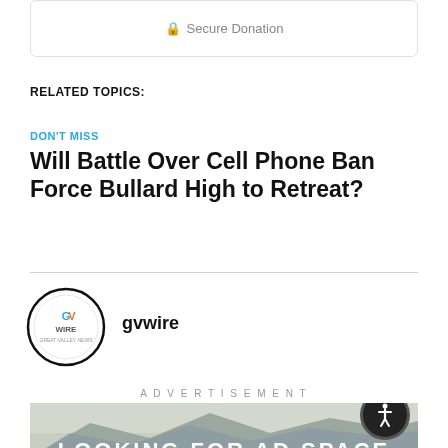Secure Donation
RELATED TOPICS:
DON'T MISS
Will Battle Over Cell Phone Ban Force Bullard High to Retreat?
gvwire
ADVERTISEMENT
[Figure (illustration): Advertisement banner showing mountain landscape with orange bar and text 'LOOKING FOR AD SPACE']